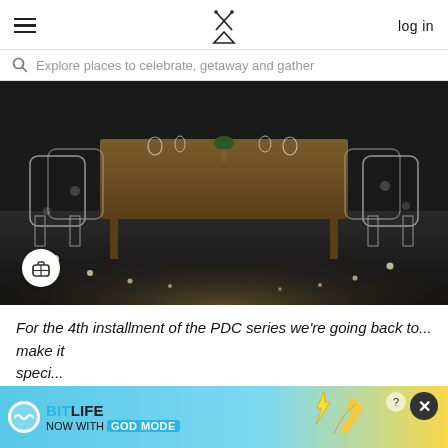log in
Explore places to celebrate, getaway and gather
[Figure (photo): Dark atmospheric dining room with a long wooden table, clear acrylic ghost chairs, and string fairy lights on the floor. A small green plant sits in the center of the table. A circular white button with a suitcase icon is overlaid in the bottom-left corner.]
For the 4th installment of the PDC series we're going back to... make it speci...